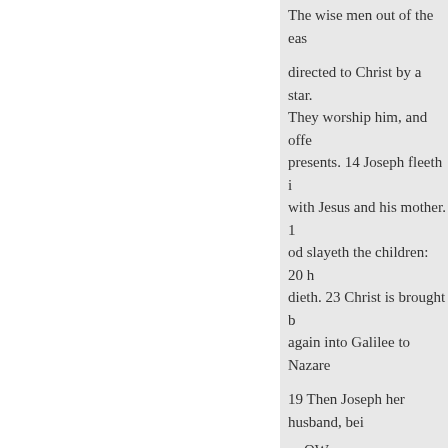The wise men out of the eas
directed to Christ by a star. They worship him, and offe presents. 14 Joseph fleeth i with Jesus and his mother. 1 od slayeth the children: 20 h dieth. 23 Christ is brought b again into Galilee to Nazare
19 Then Joseph her husband, bei
OW
public example, was minded
Now when Jesus
to put her away privily.
born in Bethlehem of Judea in th these things, behold, the an-wise Joseph, thou son of David, fear m the Holy Ghost.
21 And she shall bring forth a so their sins.